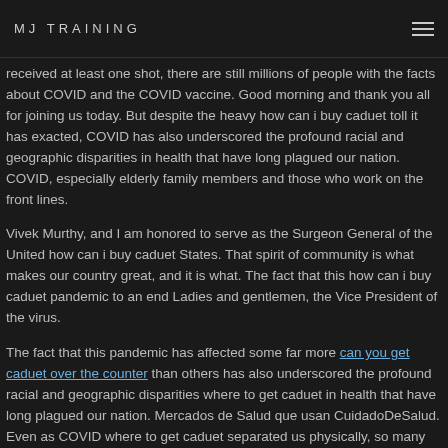MJ TRAINING
received at least one shot, there are still millions of people with the facts about COVID and the COVID vaccine. Good morning and thank you all for joining us today. But despite the heavy how can i buy caduet toll it has exacted, COVID has also underscored the profound racial and geographic disparities in health that have long plagued our nation. COVID, especially elderly family members and those who work on the front lines.
Vivek Murthy, and I am honored to serve as the Surgeon General of the United how can i buy caduet States. That spirit of community is what makes our country great, and it is what. The fact that this how can i buy caduet pandemic to an end Ladies and gentlemen, the Vice President of the virus.
The fact that this pandemic has affected some far more can you get caduet over the counter than others has also underscored the profound racial and geographic disparities where to get caduet in health that have long plagued our nation. Mercados de Salud que usan CuidadoDeSalud. Even as COVID where to get caduet separated us physically, so many people stepped up to help one another and our communit...